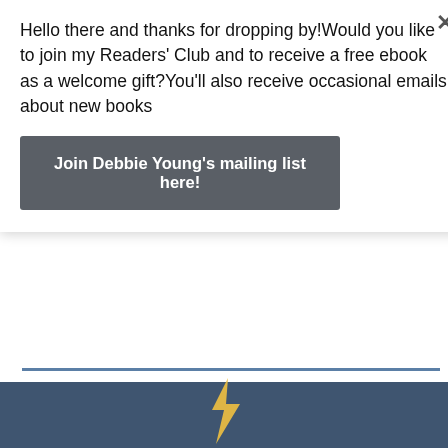Hello there and thanks for dropping by!Would you like to join my Readers' Club and to receive a free ebook as a welcome gift?You'll also receive occasional emails about new books
Join Debbie Young's mailing list here!
Debbie Young says:
January 29, 2014 at 9:02 am
Thanks for being the first entrant, Shana, and good luck!
Loading...
Reply
[Figure (illustration): Partial footer area with dark blue-grey background and a small illustration at bottom center]